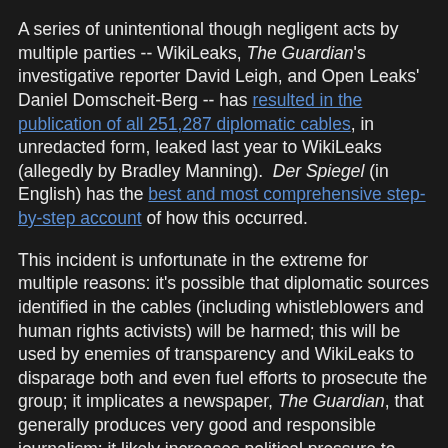A series of unintentional though negligent acts by multiple parties -- WikiLeaks, The Guardian's investigative reporter David Leigh, and Open Leaks' Daniel Domscheit-Berg -- has resulted in the publication of all 251,287 diplomatic cables, in unredacted form, leaked last year to WikiLeaks (allegedly by Bradley Manning). Der Spiegel (in English) has the best and most comprehensive step-by-step account of how this occurred.
This incident is unfortunate in the extreme for multiple reasons: it's possible that diplomatic sources identified in the cables (including whistleblowers and human rights activists) will be harmed; this will be used by enemies of transparency and WikiLeaks to disparage both and even fuel efforts to prosecute the group; it implicates a newspaper, The Guardian, that generally produces very good and responsible journalism; it likely increases political pressure to impose more severe punishment on Bradley Manning if he's found guilty of having leaked these cables; and it will completely obscure the already-ignored, important revelations of serious wrongdoing from these documents.